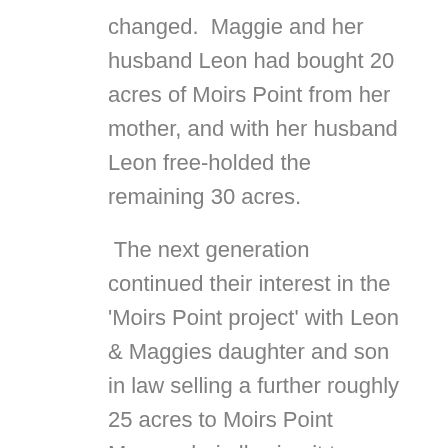changed.  Maggie and her husband Leon had bought 20 acres of Moirs Point from her mother, and with her husband Leon free-holded the remaining 30 acres.
The next generation continued their interest in the 'Moirs Point project' with Leon & Maggies daughter and son in law selling a further roughly 25 acres to Moirs Point Mangawhai allowing it to become the roughly 30 acre (13 hectare) site it is today.
The 60's came and development of the site began in earnest with buildings being constructed on these first 5 acres. Local Wellsford contractors Wharahine's worked